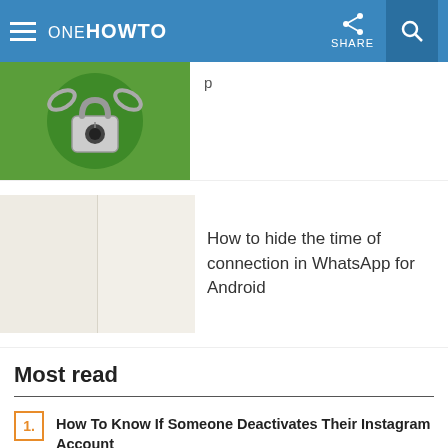ONE HOWTO — SHARE
[Figure (photo): Partial view of a WhatsApp lock/privacy article thumbnail with padlock icon on green background]
[Figure (photo): Thumbnail image showing two blank light-colored panels side by side]
How to hide the time of connection in WhatsApp for Android
Most read
1. How To Know If Someone Deactivates Their Instagram Account
2. How to Know if Someone Blocked You on Telegram
3. Instagram Poll Questions